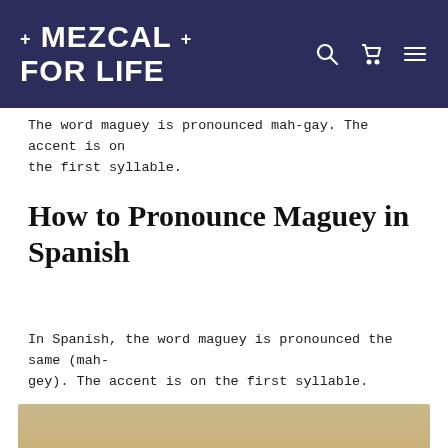+ MEZCAL + FOR LIFE
The word maguey is pronounced mah-gay. The accent is on the first syllable.
How to Pronounce Maguey in Spanish
In Spanish, the word maguey is pronounced the same (mah-gey). The accent is on the first syllable.
[Figure (photo): A field of maguey/agave plants growing in rows in sandy arid terrain]